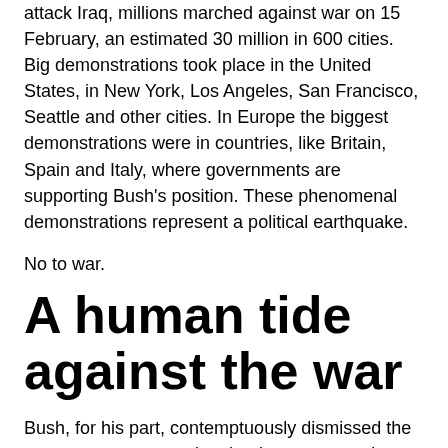attack Iraq, millions marched against war on 15 February, an estimated 30 million in 600 cities. Big demonstrations took place in the United States, in New York, Los Angeles, San Francisco, Seattle and other cities. In Europe the biggest demonstrations were in countries, like Britain, Spain and Italy, where governments are supporting Bush's position. These phenomenal demonstrations represent a political earthquake.
No to war.
A human tide against the war
Bush, for his part, contemptuously dismissed the mass protests, asserting that he was not going to be influenced by ‘focus groups’ (ironic in view of US politicians’ obsession with polls and focus groups). The USA’s leading capitalist newspaper, however, acknowledged that “there may still be two superpowers on the planet: the United States and world